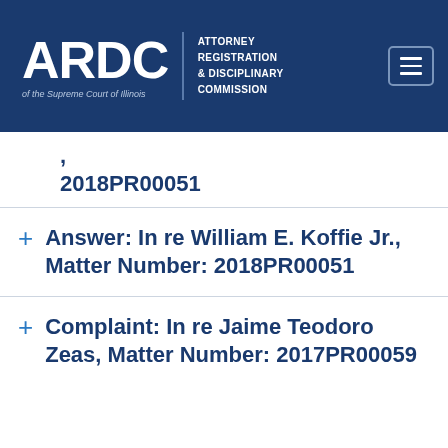[Figure (logo): ARDC - Attorney Registration & Disciplinary Commission of the Supreme Court of Illinois logo on dark navy blue background with hamburger menu icon]
2018PR00051
Answer: In re William E. Koffie Jr., Matter Number: 2018PR00051
Complaint: In re Jaime Teodoro Zeas, Matter Number: 2017PR00059